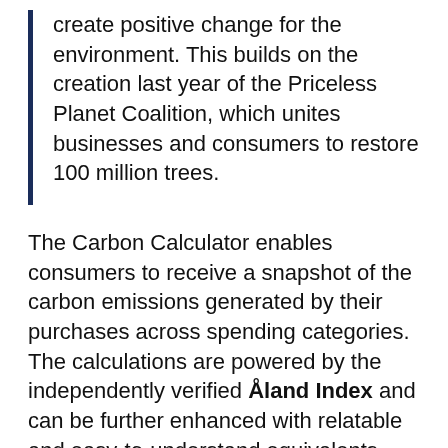create positive change for the environment. This builds on the creation last year of the Priceless Planet Coalition, which unites businesses and consumers to restore 100 million trees.
The Carbon Calculator enables consumers to receive a snapshot of the carbon emissions generated by their purchases across spending categories. The calculations are powered by the independently verified Åland Index and can be further enhanced with relatable and easy-to-understand equivalents (such as the number of trees